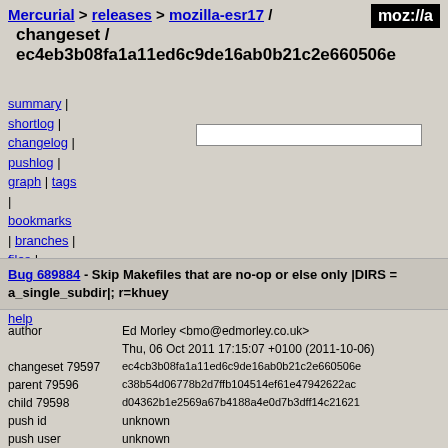Mercurial > releases > mozilla-esr17 / moz://a
changeset /
ec4eb3b08fa1a11ed6c9de16ab0b21c2e660506e
summary | shortlog | changelog | pushlog | graph | tags | bookmarks | branches | files | changeset | raw | zip | help
Bug 689884 - Skip Makefiles that are no-op or else only |DIRS = a_single_subdir|; r=khuey
| field | value |
| --- | --- |
| author | Ed Morley <bmo@edmorley.co.uk> |
|  | Thu, 06 Oct 2011 17:15:07 +0100 (2011-10-06) |
| changeset 79597 | ec4cb3b08fa1a11ed6c9de16ab0b21c2e660506e |
| parent 79596 | c38b54d06778b2d7ffb104514ef61e47942622ac |
| child 79598 | d04362b1e2569a67b4188a4e0d7b3dff14c21621 |
| push id | unknown |
| push user | unknown |
| push date | unknown (unknown) |
| reviewers | khuey |